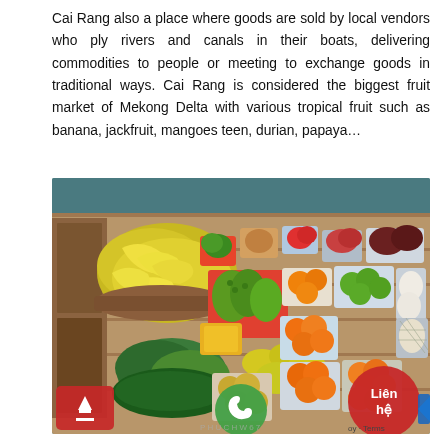Cai Rang also a place where goods are sold by local vendors who ply rivers and canals in their boats, delivering commodities to people or meeting to exchange goods in traditional ways. Cai Rang is considered the biggest fruit market of Mekong Delta with various tropical fruit such as banana, jackfruit, mangoes teen, durian, papaya…
[Figure (photo): Aerial/overhead view of a floating market boat loaded with various tropical fruits arranged in bowls and baskets on a wooden deck, with water visible in the background. UI overlay elements visible at bottom: red upload button, green phone call button, red 'Liên hệ' button, and 'Terms' text.]